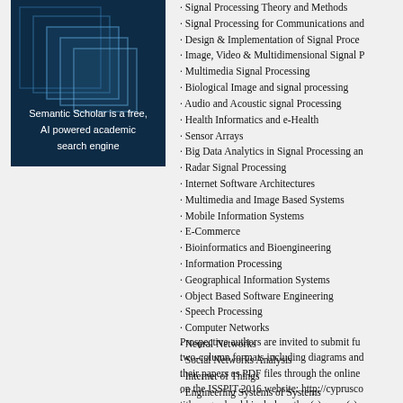[Figure (illustration): Semantic Scholar logo/banner: dark blue background with overlapping translucent squares, white text reading 'Semantic Scholar is a free, AI powered academic search engine']
· Signal Processing Theory and Methods
· Signal Processing for Communications and
· Design & Implementation of Signal Proce...
· Image, Video & Multidimensional Signal P...
· Multimedia Signal Processing
· Biological Image and signal processing
· Audio and Acoustic signal Processing
· Health Informatics and e-Health
· Sensor Arrays
· Big Data Analytics in Signal Processing an...
· Radar Signal Processing
· Internet Software Architectures
· Multimedia and Image Based Systems
· Mobile Information Systems
· E-Commerce
· Bioinformatics and Bioengineering
· Information Processing
· Geographical Information Systems
· Object Based Software Engineering
· Speech Processing
· Computer Networks
· Neural Networks
· Social Networks Analysis
· Internet of Things
· Engineering Systems of Systems
Prospective authors are invited to submit fu... two-column formats including diagrams and... their papers as PDF files through the online... on the ISSPIT 2016 website: http://cyprusco... title page should include author(s) name(s)...